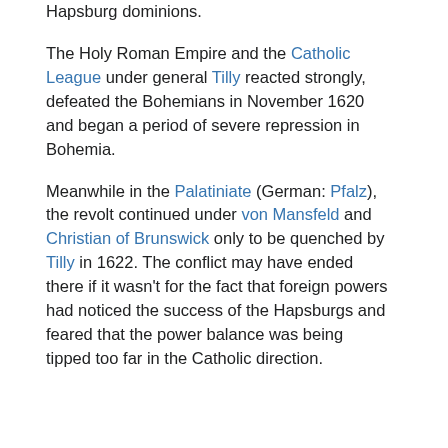Hapsburg dominions.
The Holy Roman Empire and the Catholic League under general Tilly reacted strongly, defeated the Bohemians in November 1620 and began a period of severe repression in Bohemia.
Meanwhile in the Palatiniate (German: Pfalz), the revolt continued under von Mansfeld and Christian of Brunswick only to be quenched by Tilly in 1622. The conflict may have ended there if it wasn't for the fact that foreign powers had noticed the success of the Hapsburgs and feared that the power balance was being tipped too far in the Catholic direction.